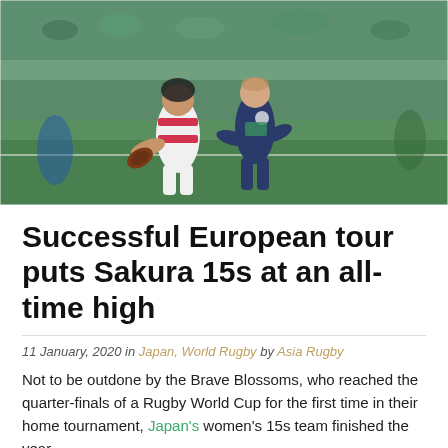[Figure (photo): Two women rugby players in action — a Japan player in red and white carrying the ball, pursued by a Scotland player in dark blue, on a green pitch with crowd in background.]
Successful European tour puts Sakura 15s at an all-time high
11 January, 2020 in Japan, World Rugby by Asia Rugby
Not to be outdone by the Brave Blossoms, who reached the quarter-finals of a Rugby World Cup for the first time in their home tournament, Japan's women's 15s team finished the year